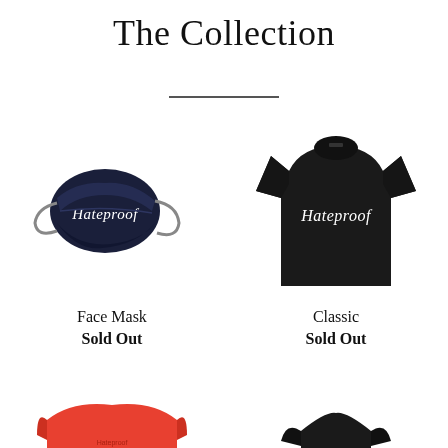The Collection
[Figure (photo): Black fabric face mask with 'Hateproof' script embroidered in white]
Face Mask
Sold Out
[Figure (photo): Black t-shirt with 'Hateproof' script text on chest]
Classic
Sold Out
[Figure (photo): Red/orange top with Hateproof branding, partially visible at bottom]
[Figure (photo): Black item partially visible at bottom right]